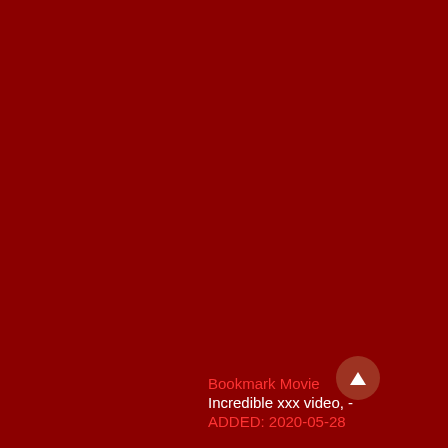[Figure (screenshot): Dark red background filling the entire page, with a circular button overlay (brownish-red circle with white upward triangle) in the lower right area, and text overlaid at the bottom right.]
Bookmark Movie
Incredible xxx video, -
ADDED: 2020-05-28